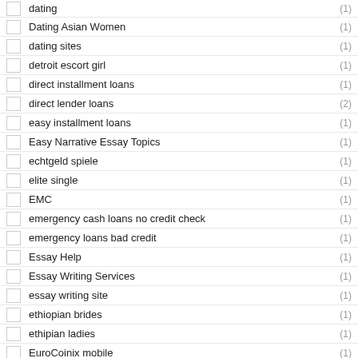dating (1)
Dating Asian Women (1)
dating sites (1)
detroit escort girl (1)
direct installment loans (1)
direct lender loans (2)
easy installment loans (1)
Easy Narrative Essay Topics (1)
echtgeld spiele (1)
elite single (1)
EMC (1)
emergency cash loans no credit check (1)
emergency loans bad credit (1)
Essay Help (1)
Essay Writing Services (1)
essay writing site (1)
ethiopian brides (1)
ethipian ladies (1)
EuroCoinix mobile (1)